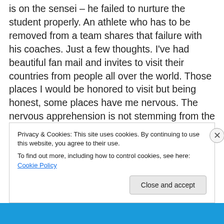is on the sensei – he failed to nurture the student properly. An athlete who has to be removed from a team shares that failure with his coaches. Just a few thoughts. I've had beautiful fan mail and invites to visit their countries from people all over the world. Those places I would be honored to visit but being honest, some places have me nervous. The nervous apprehension is not stemming from the artists. So in conclusion, if a group of people geographically create something in an area where some in power have misstepped should all the people, all the artists be held accountable? And yes. I'm sure the artists
Privacy & Cookies: This site uses cookies. By continuing to use this website, you agree to their use.
To find out more, including how to control cookies, see here: Cookie Policy